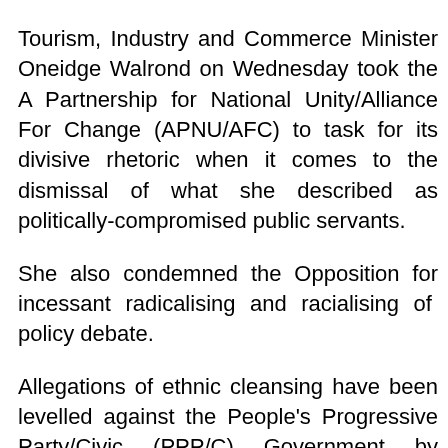Tourism, Industry and Commerce Minister Oneidge Walrond on Wednesday took the A Partnership for National Unity/Alliance For Change (APNU/AFC) to task for its divisive rhetoric when it comes to the dismissal of what she described as politically-compromised public servants. She also condemned the Opposition for incessant radicalising and racialising of policy debate. Allegations of ethnic cleansing have been levelled against the People's Progressive Party/Civic (PPP/C) Government by Opposition members throughout the debates. During her presentation on Budget 2021, however, Minister Walrond pointed out that many of these public servants were dismissed because they were openly politically inclined and moreover, obstructionists.